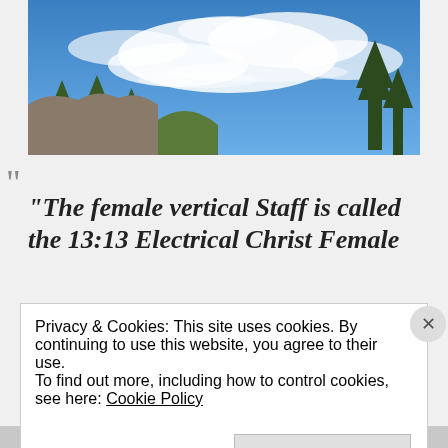[Figure (photo): Landscape photo showing blue sky with wispy white clouds, pine trees on the right, and a rocky hillside on the left.]
““
“The female vertical Staff is called the 13:13 Electrical Christ Female
Privacy & Cookies: This site uses cookies. By continuing to use this website, you agree to their use.
To find out more, including how to control cookies, see here: Cookie Policy
Close and accept